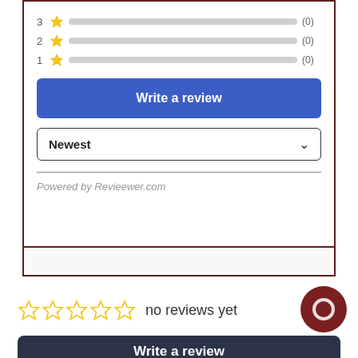[Figure (screenshot): Rating bars showing star ratings 3, 2, 1 each with (0) count and gray empty bars, a blue 'Write a review' button, a 'Newest' dropdown selector, a horizontal divider, and 'Powered by Revieewer.com' attribution, all inside a dark-bordered box]
no reviews yet
Write a review